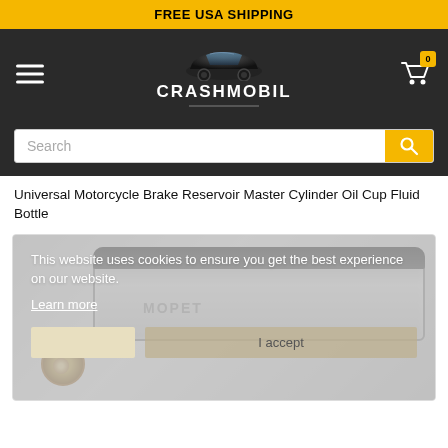FREE USA SHIPPING
[Figure (logo): Crashmobil logo with car silhouette and text CRASHMOBIL on dark background]
Search
Universal Motorcycle Brake Reservoir Master Cylinder Oil Cup Fluid Bottle
[Figure (photo): Product photo of a motorcycle brake reservoir master cylinder oil cup fluid bottle. A cookie consent overlay is visible with text: This website uses cookies to ensure you get the best experience on our website. Learn more. With blank button and I accept button.]